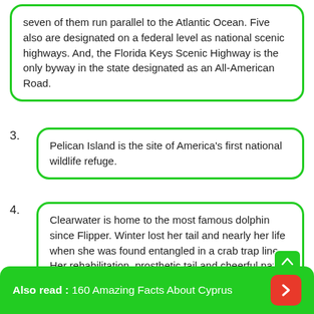seven of them run parallel to the Atlantic Ocean. Five also are designated on a federal level as national scenic highways. And, the Florida Keys Scenic Highway is the only byway in the state designated as an All-American Road.
3. Pelican Island is the site of America's first national wildlife refuge.
4. Clearwater is home to the most famous dolphin since Flipper. Winter lost her tail and nearly her life when she was found entangled in a crab trap line. Her rehabilitation, prosthetic tail and cheerful nature have inspired two Hollywood movies and thousands of daily visitors.
Also read : 160 Amazing Facts About Cyprus